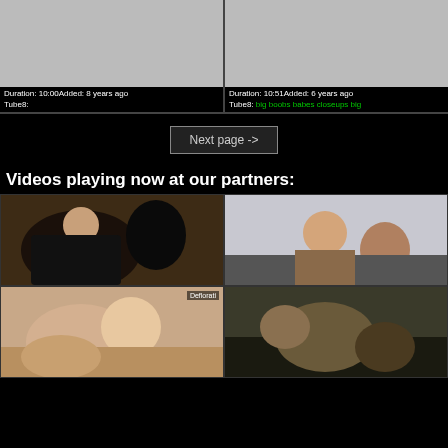[Figure (screenshot): Video thumbnail placeholder gray - Duration 10:00 Added 8 years ago]
Duration: 10:00Added: 8 years ago
Tube8:
[Figure (screenshot): Video thumbnail placeholder gray - Duration 10:51 Added 6 years ago]
Duration: 10:51Added: 6 years ago
Tube8: big boobs babes closeups big
Next page ->
Videos playing now at our partners:
[Figure (photo): Partner video thumbnail 1 - people scene]
[Figure (photo): Partner video thumbnail 2 - people scene]
[Figure (photo): Partner video thumbnail 3 - Deflorati watermark]
[Figure (photo): Partner video thumbnail 4 - people scene]